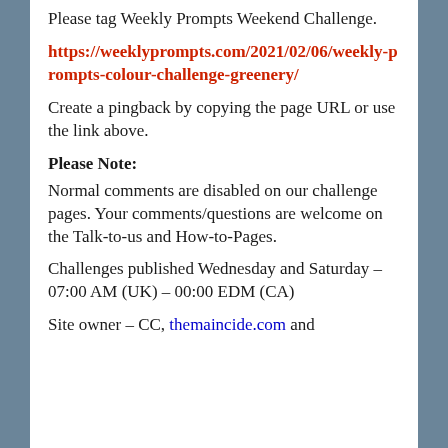Please tag Weekly Prompts Weekend Challenge.
https://weeklyprompts.com/2021/02/06/weekly-prompts-colour-challenge-greenery/
Create a pingback by copying the page URL or use the link above.
Please Note: Normal comments are disabled on our challenge pages. Your comments/questions are welcome on the Talk-to-us and How-to-Pages.
Challenges published Wednesday and Saturday – 07:00 AM (UK) – 00:00 EDM (CA)
Site owner – CC, themaincide.com and